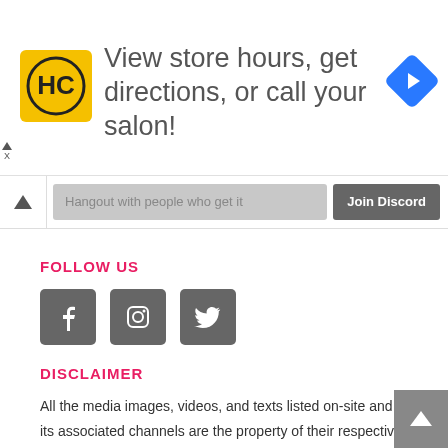[Figure (screenshot): Advertisement banner with HC hair salon logo, text 'View store hours, get directions, or call your salon!', and a blue navigation arrow icon. Skip ad controls visible on left.]
[Figure (screenshot): Discord join bar with chevron up icon, 'Hangout with people who get it' placeholder text, and 'Join Discord' button]
FOLLOW US
[Figure (infographic): Three social media icon buttons: Facebook (f), Instagram (camera), Twitter (bird), all in dark grey rounded square buttons]
DISCLAIMER
All the media images, videos, and texts listed on-site and its associated channels are the property of their respective owners, and it's published for general information purposes only.